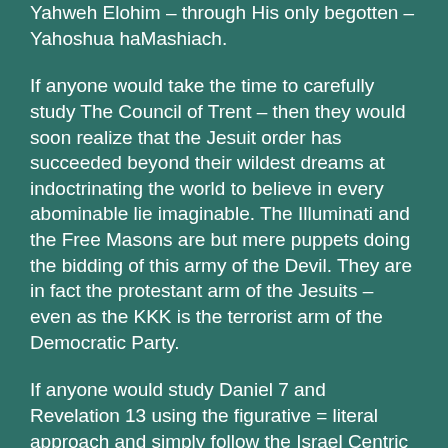Yahweh Elohim – through His only begotten – Yahoshua haMashiach.
If anyone would take the time to carefully study The Council of Trent – then they would soon realize that the Jesuit order has succeeded beyond their wildest dreams at indoctrinating the world to believe in every abominable lie imaginable. The Illuminati and the Free Masons are but mere puppets doing the bidding of this army of the Devil. They are in fact the protestant arm of the Jesuits – even as the KKK is the terrorist arm of the Democratic Party.
If anyone would study Daniel 7 and Revelation 13 using the figurative = literal approach and simply follow the Israel Centric chronology of history from that time to the present – they would come to the same